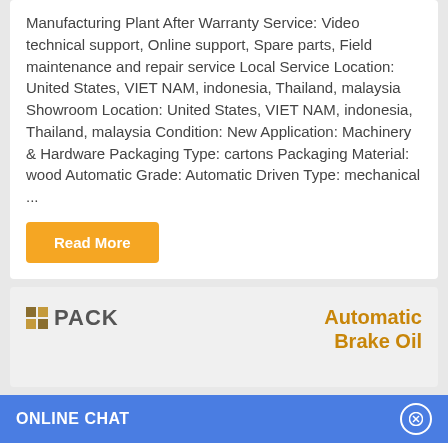Manufacturing Plant After Warranty Service: Video technical support, Online support, Spare parts, Field maintenance and repair service Local Service Location: United States, VIET NAM, indonesia, Thailand, malaysia Showroom Location: United States, VIET NAM, indonesia, Thailand, malaysia Condition: New Application: Machinery & Hardware Packaging Type: cartons Packaging Material: wood Automatic Grade: Automatic Driven Type: mechanical ...
Read More
[Figure (logo): NNPack logo on left, 'Automatic Brake Oil' text on right in gold/orange]
ONLINE CHAT
[Figure (photo): Avatar of a woman named Cilina]
Hi,welcome to visit our website.
Cilina